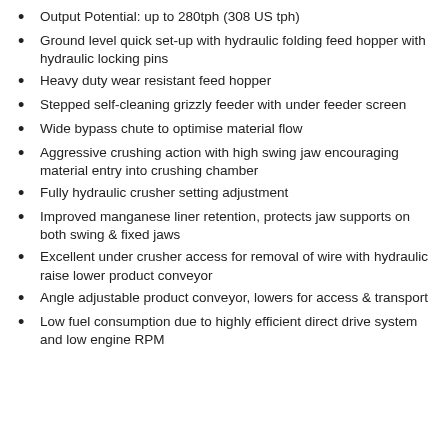Output Potential: up to 280tph (308 US tph)
Ground level quick set-up with hydraulic folding feed hopper with hydraulic locking pins
Heavy duty wear resistant feed hopper
Stepped self-cleaning grizzly feeder with under feeder screen
Wide bypass chute to optimise material flow
Aggressive crushing action with high swing jaw encouraging material entry into crushing chamber
Fully hydraulic crusher setting adjustment
Improved manganese liner retention, protects jaw supports on both swing & fixed jaws
Excellent under crusher access for removal of wire with hydraulic raise lower product conveyor
Angle adjustable product conveyor, lowers for access & transport
Low fuel consumption due to highly efficient direct drive system and low engine RPM